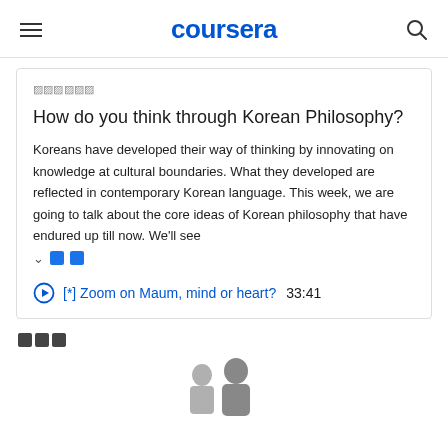coursera
🀫🀫🀫🀫🀫
How do you think through Korean Philosophy?
Koreans have developed their way of thinking by innovating on knowledge at cultural boundaries. What they developed are reflected in contemporary Korean language. This week, we are going to talk about the core ideas of Korean philosophy that have endured up till now. We'll see
[*] Zoom on Maum, mind or heart?   33:41
[Figure (photo): Person silhouette/photo at bottom of page]